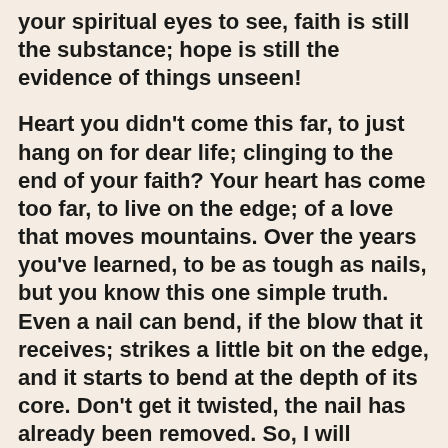your spiritual eyes to see, faith is still the substance; hope is still the evidence of things unseen!
Heart you didn't come this far, to just hang on for dear life; clinging to the end of your faith? Your heart has come too far, to live on the edge; of a love that moves mountains. Over the years you've learned, to be as tough as nails, but you know this one simple truth. Even a nail can bend, if the blow that it receives; strikes a little bit on the edge, and it starts to bend at the depth of its core. Don't get it twisted, the nail has already been removed. So, I will forever fasten my heart, to the truth of God's love. And whenever the hammer falls, being on the edge; will never truly shake my core foundation!
I don't want to be a man living on the edge, this heart of mine; is on the edge of